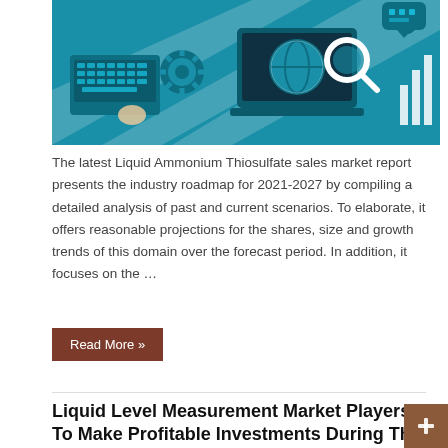[Figure (illustration): Digital technology themed banner image with teal/blue background showing keyboard, gear, globe on laptop screen, magnifying glass, and bar chart icons in flat design style]
The latest Liquid Ammonium Thiosulfate sales market report presents the industry roadmap for 2021-2027 by compiling a detailed analysis of past and current scenarios. To elaborate, it offers reasonable projections for the shares, size and growth trends of this domain over the forecast period. In addition, it focuses on the …
Read More »
Liquid Level Measurement Market Players To Make Profitable Investments During The Period 2021-2026
October 2, 2021  Liquid Market  0
[Figure (illustration): Market research themed banner image with teal/blue background showing bar charts, documents, and printer icons in flat design style]